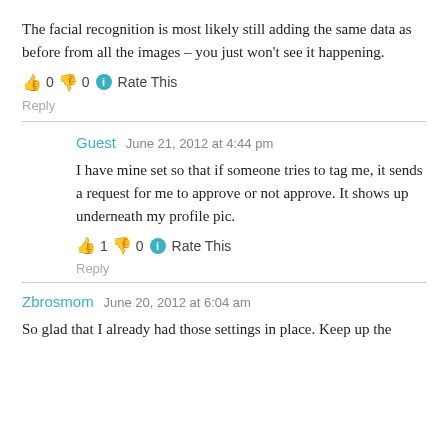The facial recognition is most likely still adding the same data as before from all the images – you just won't see it happening.
👍 0 👎 0 ℹ Rate This
Reply
Guest   June 21, 2012 at 4:44 pm
I have mine set so that if someone tries to tag me, it sends a request for me to approve or not approve. It shows up underneath my profile pic.
👍 1 👎 0 ℹ Rate This
Reply
Zbrosmom   June 20, 2012 at 6:04 am
So glad that I already had those settings in place. Keep up the